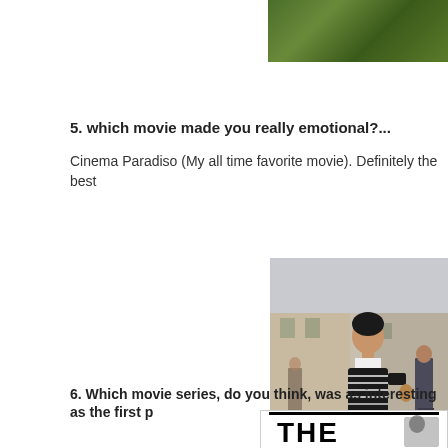[Figure (photo): Partial view of green grass/lawn at top right corner of page]
5. which movie made you really emotional?...
Cinema Paradiso (My all time favorite movie). Definitely the best
[Figure (photo): A young man standing in an Italian street, wearing a black and white striped sweater, looking sideways. Stone buildings and other people visible in background. Scene from Cinema Paradiso.]
6. Which movie series, do you think, was as interesting as the first p
[Figure (other): Partial movie poster showing large bold text 'THE' in black, with partial image of a person holding a weapon on the right side, white background with black border at top.]